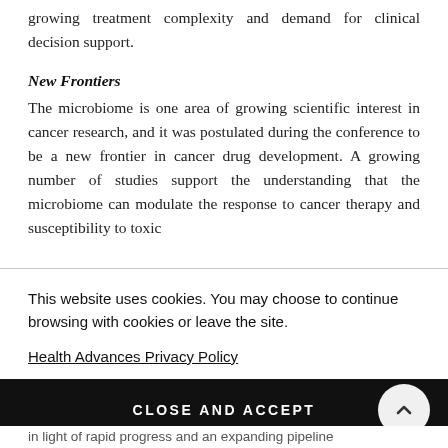growing treatment complexity and demand for clinical decision support.
New Frontiers
The microbiome is one area of growing scientific interest in cancer research, and it was postulated during the conference to be a new frontier in cancer drug development. A growing number of studies support the understanding that the microbiome can modulate the response to cancer therapy and susceptibility to toxic
This website uses cookies. You may choose to continue browsing with cookies or leave the site.
Health Advances Privacy Policy
CLOSE AND ACCEPT
in light of rapid progress and an expanding pipeline